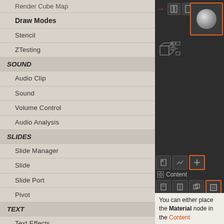Render Cube Map
Draw Modes
Stencil
ZTesting
SOUND
Audio Clip
Sound
Volume Control
Audio Analysis
SLIDES
Slide Manager
Slide
Slide Port
Pivot
TEXT
Text Effects
Text Layouts
[Figure (screenshot): Software UI panel showing node editor with orange-bordered sphere material node, toolbar buttons with red arrow, Content browser label, and additional toolbar controls on dark background]
You can either place the Material node in the Content